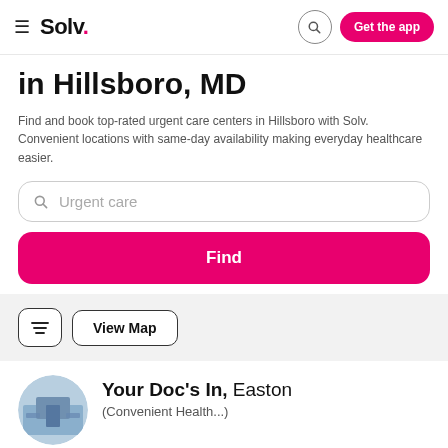Solv. — Get the app
in Hillsboro, MD
Find and book top-rated urgent care centers in Hillsboro with Solv. Convenient locations with same-day availability making everyday healthcare easier.
Urgent care
Find
View Map
Your Doc's In, Easton